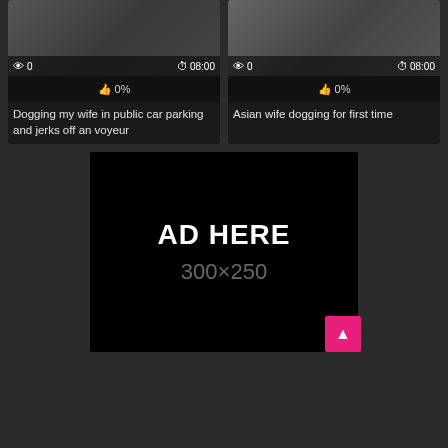[Figure (screenshot): Video thumbnail left: people in car, dark scene]
Dogging my wife in public car parking and jerks off an voyeur
[Figure (screenshot): Video thumbnail right: person in dark clothing]
Asian wife dogging for first time
[Figure (other): Advertisement placeholder black box with text AD HERE and size 300x250]